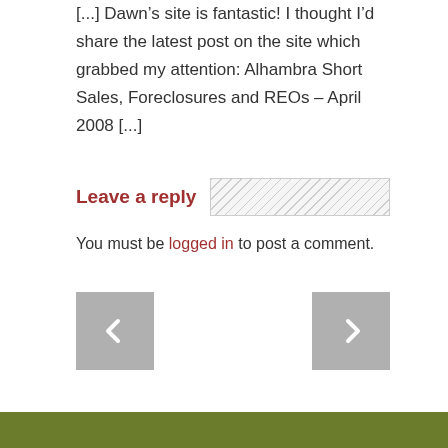[...] Dawn’s site is fantastic! I thought I’d share the latest post on the site which grabbed my attention: Alhambra Short Sales, Foreclosures and REOs – April 2008 [...]
Leave a reply
You must be logged in to post a comment.